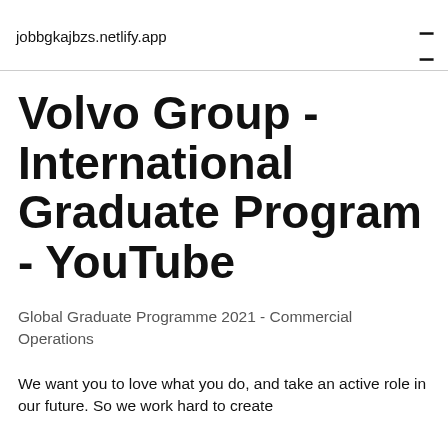jobbgkajbzs.netlify.app
Volvo Group - International Graduate Program - YouTube
Global Graduate Programme 2021 - Commercial Operations
We want you to love what you do, and take an active role in our future. So we work hard to create